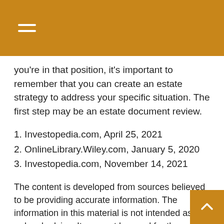you're in that position, it's important to remember that you can create an estate strategy to address your specific situation. The first step may be an estate document review.
1. Investopedia.com, April 25, 2021
2. OnlineLibrary.Wiley.com, January 5, 2020
3. Investopedia.com, November 14, 2021
The content is developed from sources believed to be providing accurate information. The information in this material is not intended as tax or legal advice. It may not be used for the purpose of avoiding any federal tax penalties. Please consult legal or tax professionals for specific information regarding your individual situation. This material was developed and produced by FMG Suite to provide information on a topic that may be of interest. FMG Suite, is not affiliated with the named broker-dealer, state- or SEC-registered investment advisory firm. The opinions expressed and material provided are for general information, and should not be